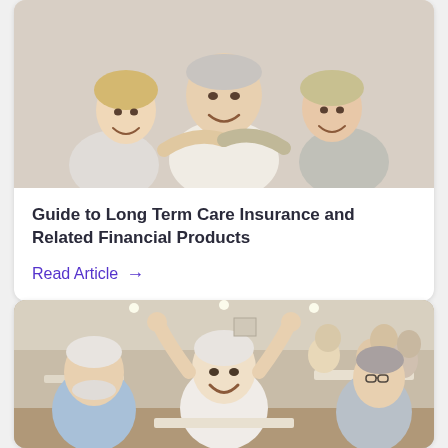[Figure (photo): Three people (elderly man in the center, two younger women on either side) smiling and hugging, a cheerful family photo]
Guide to Long Term Care Insurance and Related Financial Products
Read Article →
[Figure (photo): Group of elderly seniors sitting at tables in a community room, a woman in the center celebrating with arms raised as if winning at bingo]